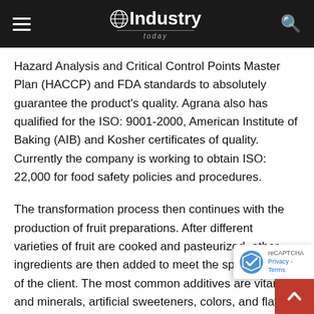Industry Today
Hazard Analysis and Critical Control Points Master Plan (HACCP) and FDA standards to absolutely guarantee the product’s quality. Agrana also has qualified for the ISO: 9001-2000, American Institute of Baking (AIB) and Kosher certificates of quality. Currently the company is working to obtain ISO: 22,000 for food safety policies and procedures.
The transformation process then continues with the production of fruit preparations. After different varieties of fruit are cooked and pasteurized, other ingredients are then added to meet the specifications of the client. The most common additives are vitamins and minerals, artificial sweeteners, colors, and flavor enhancers. Eac…